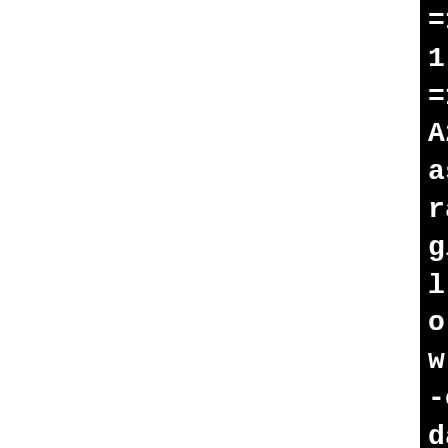=1 -DCONFIG_AS_CRC32=1 -DC 1 -DCONFIG_AS_AVX2=1 -DCO =1 -DCONFIG_AS_SHA1_NI=1 - A256_NI=1 -pipe -Wno-sign- asynchronous-unwind-tables ranch=thunk-extern -mindi gister -fno-jump-tables -f l-pointer-checks -Wno-fra o-format-truncation -Wno- w -Wno-int-in-bool-context -of-packed-member -O2 -fn data-races -Wframe-larger- tack-protector-strong -Wn et-variable -Wno-unused-c -fno-var-tracking-assignme warf -gdwarf-4 -pg -mreco ntry -DCC_USING_FENTRY -Wc ter-statement -Wno-pointer ringop-truncation -Wno-zer ds -Wno-array-bounds -Wno- flow -Wno-restrict -Wno-ma ized -fno-strict-overflow l-constants -fmerge-consta k-check -fconserve-stack